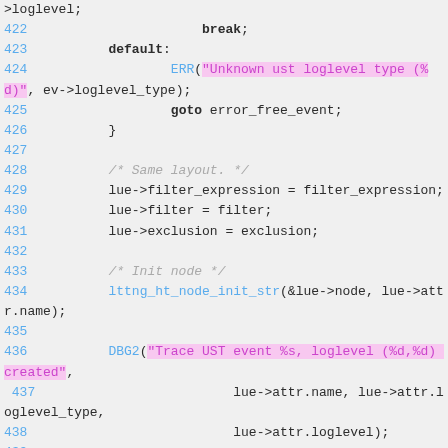>loglevel;
422                     break;
423         default:
424                 ERR("Unknown ust loglevel type (%d)", ev->loglevel_type);
425                 goto error_free_event;
426         }
427
428         /* Same layout. */
429         lue->filter_expression = filter_expression;
430         lue->filter = filter;
431         lue->exclusion = exclusion;
432
433         /* Init node */
434         lttng_ht_node_init_str(&lue->node, lue->attr.name);
435
436         DBG2("Trace UST event %s, loglevel (%d,%d) created",
437                         lue->attr.name, lue->attr.loglevel_type,
438                         lue->attr.loglevel);
439
440         return lue;